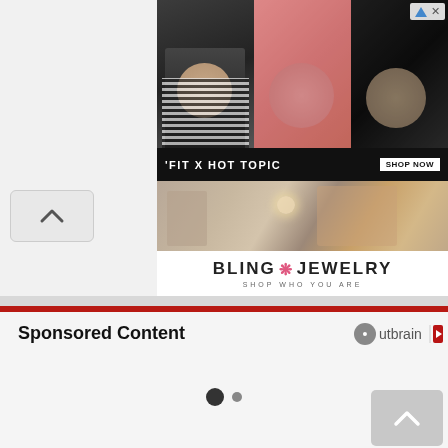[Figure (screenshot): Advertisement banner for 'FIT X HOT TOPIC' showing three young people in fashion clothing with a dark background and 'SHOP NOW' button]
[Figure (screenshot): Advertisement for Bling Jewelry showing fashion accessories and clothing with tagline 'SHOP WHO YOU ARE']
Sponsored Content
[Figure (logo): Outbrain logo with red arrow icon]
[Figure (other): Pagination dots — one filled dark circle and one smaller grey circle]